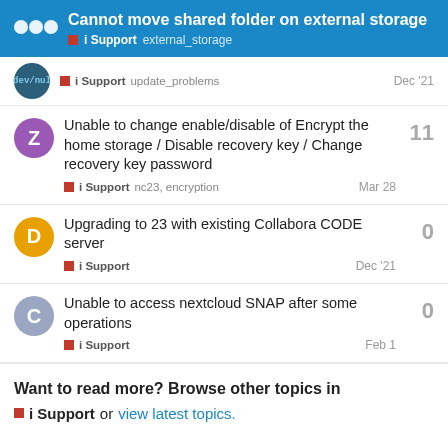Cannot move shared folder on external storage | i Support  external_storage
i Support  update_problems  Dec '21
Unable to change enable/disable of Encrypt the home storage / Disable recovery key / Change recovery key password
i Support  nc23, encryption  Mar 28  11 replies
Upgrading to 23 with existing Collabora CODE server
i Support  Dec '21  0 replies
Unable to access nextcloud SNAP after some operations
i Support  Feb 1  0 replies
Want to read more? Browse other topics in i Support or view latest topics.